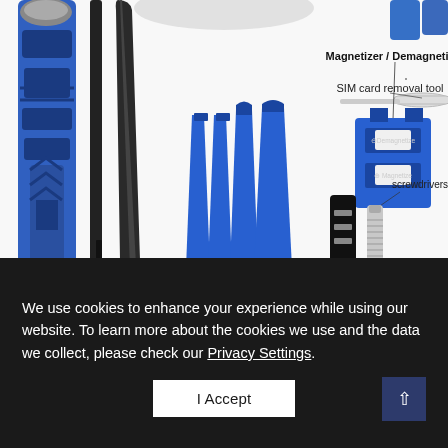[Figure (photo): Product photo of a repair toolkit showing: a blue/black screwdriver handle on the left, two black tweezers/pry tools in the center-left, four blue plastic pry/spudger tools in the center, a SIM card removal tool (thin metal pin) with label 'SIM card removal tool', a blue Magnetizer/Demagnetizer tool with label 'Magnetizer / Demagnetizer', and screwdriver bits/handles on the right with label 'screwdrivers'. Background is white.]
We use cookies to enhance your experience while using our website. To learn more about the cookies we use and the data we collect, please check our Privacy Settings.